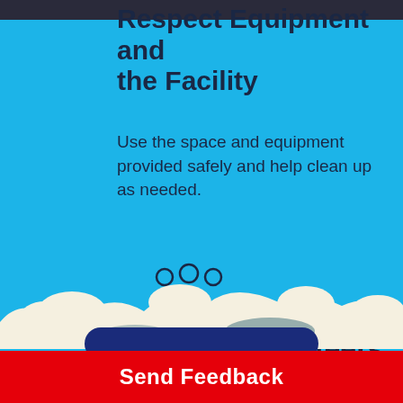Respect Equipment and the Facility
Use the space and equipment provided safely and help clean up as needed.
[Figure (illustration): Icon of three people/volunteers silhouette outline]
Respect Volunteers
Listen to and obey them
[Figure (illustration): Decorative cloud and landscape illustration at the bottom of the page]
Send Feedback